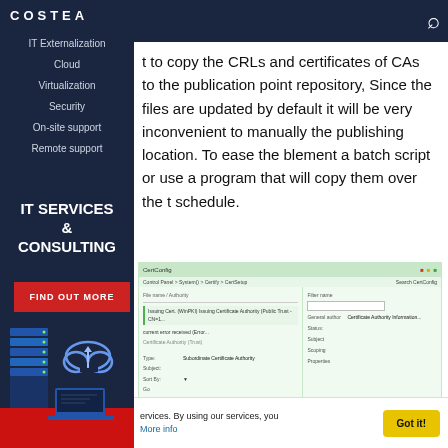COSTEA
IT Externalization
Cloud
Virtualization
Security
On-site support
Remote support
IT SERVICES & CONSULTING
FIND OUT MORE
t to copy the CRLs and certificates of CAs to the publication point repository, Since the files are updated by default it will be very inconvenient to manually the publishing location. To ease the blement a batch script or use a program that will copy them over the t schedule.
[Figure (screenshot): Screenshot of a Windows application window showing certificate authority settings with form fields including Type, Subject, Sort By, and other properties listed in a panel on the right side.]
ervices. By using our services, you More info
Got it!